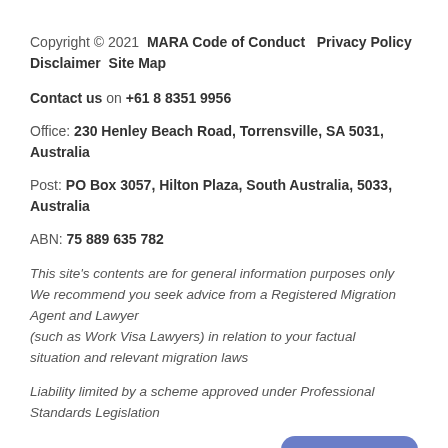Copyright © 2021  MARA Code of Conduct  Privacy Policy  Disclaimer  Site Map
Contact us on +61 8 8351 9956
Office: 230 Henley Beach Road, Torrensville, SA 5031, Australia
Post: PO Box 3057, Hilton Plaza, South Australia, 5033, Australia
ABN: 75 889 635 782
This site's contents are for general information purposes only We recommend you seek advice from a Registered Migration Agent and Lawyer (such as Work Visa Lawyers) in relation to your factual situation and relevant migration laws
Liability limited by a scheme approved under Professional Standards Legislation
Site by Adelaide Websites